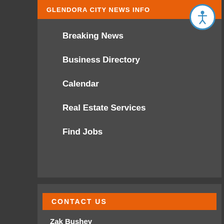GLENDORA CITY NEWS INFO
Breaking News
Business Directory
Calendar
Real Estate Services
Find Jobs
CONTACT US
Zak Bushey